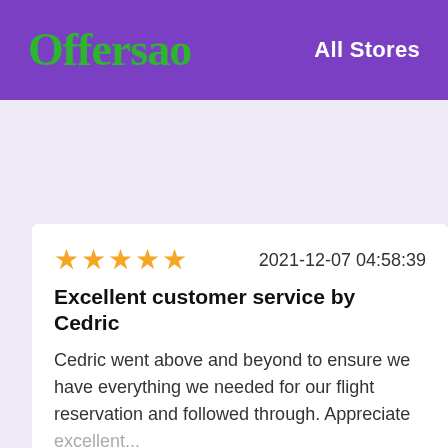Offersao — All Stores
★★★★★  2021-12-07 04:58:39
Excellent customer service by Cedric
Cedric went above and beyond to ensure we have everything we needed for our flight reservation and followed through. Appreciate excellent...
FAQ for Priceline
How about Priceline's vip rewards?
Priceline has tons of great deals to save you up